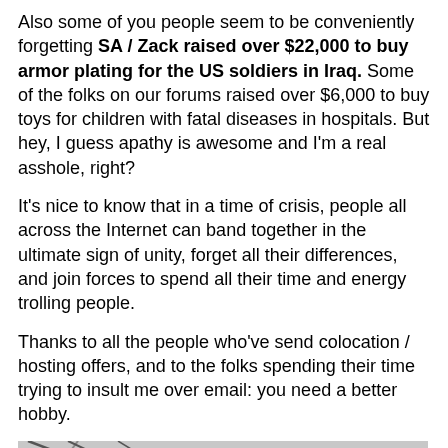Also some of you people seem to be conveniently forgetting SA / Zack raised over $22,000 to buy armor plating for the US soldiers in Iraq. Some of the folks on our forums raised over $6,000 to buy toys for children with fatal diseases in hospitals. But hey, I guess apathy is awesome and I'm a real asshole, right?

It's nice to know that in a time of crisis, people all across the Internet can band together in the ultimate sign of unity, forget all their differences, and join forces to spend all their time and energy trolling people.

Thanks to all the people who've send colocation / hosting offers, and to the folks spending their time trying to insult me over email: you need a better hobby.
[Figure (illustration): Cartoon illustration of a muscular dark-skinned man wearing red goggles, a yellow and dark red costume with purple/magenta straps/armor pieces, standing in a grey interior setting with curved architectural lines in the background.]